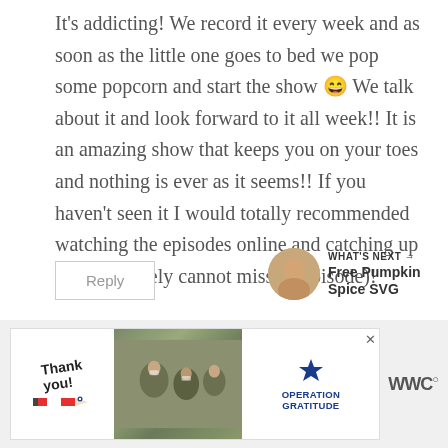It's addicting! We record it every week and as soon as the little one goes to bed we pop some popcorn and start the show 🎬 We talk about it and look forward to it all week!! It is an amazing show that keeps you on your toes and nothing is ever as it seems!! If you haven't seen it I would totally recommended watching the episodes online and catching up (you definitely cannot miss an episode)!
Reply
WHAT'S NEXT → Free Pumpkin Spice SVG
[Figure (screenshot): Advertisement banner for Operation Gratitude with a 'Thank you' handwritten text, patriotic pencil graphic, military soldiers image, and Operation Gratitude logo]